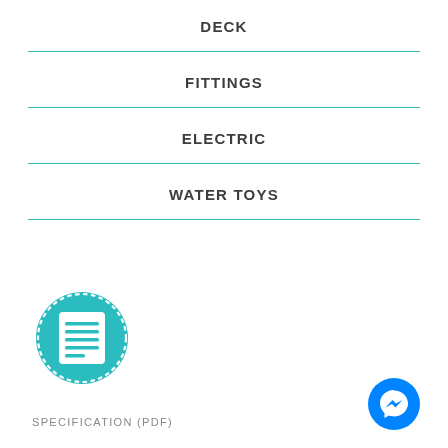DECK
FITTINGS
ELECTRIC
WATER TOYS
[Figure (illustration): Teal circular icon with dashed border and a document/list symbol in white]
SPECIFICATION (PDF)
[Figure (logo): Blue circular Facebook Messenger icon in bottom right corner]